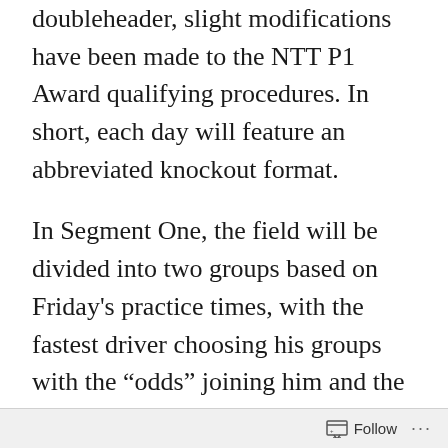doubleheader, slight modifications have been made to the NTT P1 Award qualifying procedures. In short, each day will feature an abbreviated knockout format.
In Segment One, the field will be divided into two groups based on Friday's practice times, with the fastest driver choosing his groups with the “odds” joining him and the “evens” in the other group. Group 1 and Group 2 will each receive a 10-minute qualifying session, with the clock running during red-flag conditions. The fastest six cars from each group will advance to Segment
Follow ···